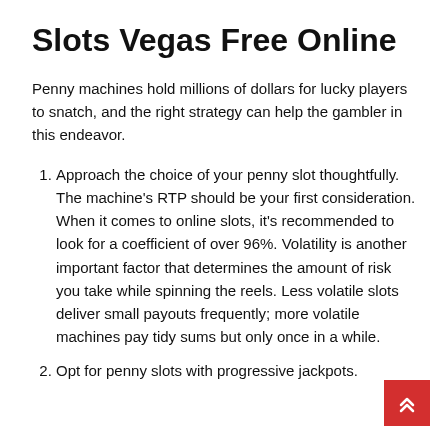Slots Vegas Free Online
Penny machines hold millions of dollars for lucky players to snatch, and the right strategy can help the gambler in this endeavor.
Approach the choice of your penny slot thoughtfully. The machine's RTP should be your first consideration. When it comes to online slots, it's recommended to look for a coefficient of over 96%. Volatility is another important factor that determines the amount of risk you take while spinning the reels. Less volatile slots deliver small payouts frequently; more volatile machines pay tidy sums but only once in a while.
Opt for penny slots with progressive jackpots.